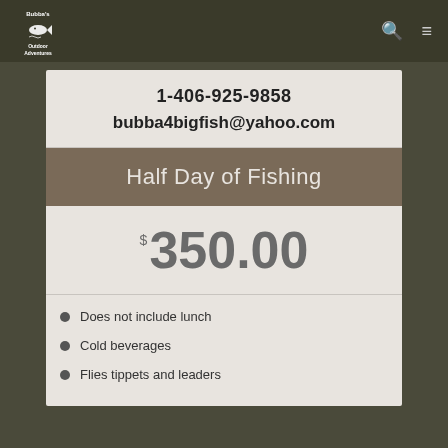[Figure (logo): Bubba's Outdoor Adventures logo with fish graphic, white text on dark background]
1-406-925-9858
bubba4bigfish@yahoo.com
Half Day of Fishing
$350.00
Does not include lunch
Cold beverages
Flies tippets and leaders